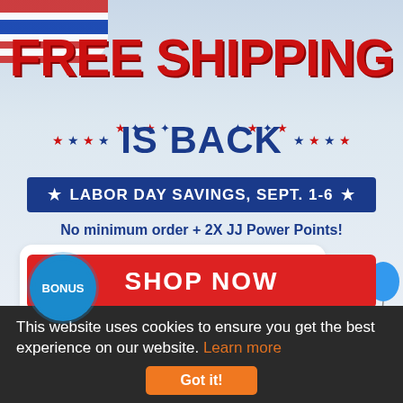FREE SHIPPING IS BACK
★ ✦ ★ ✦ IS BACK ✦ ★ ✦ ★
★ LABOR DAY SAVINGS, SEPT. 1-6 ★
No minimum order + 2X JJ Power Points!
[Figure (infographic): Blue lunch tote bag with BONUS badge circle, alongside FREE Lunch Tote with Orders $99+* promotional offer. *While supplies last.]
FREE
Lunch Tote with Orders $99+*
*While supplies last.
SHOP NOW
This website uses cookies to ensure you get the best experience on our website. Learn more
Got it!